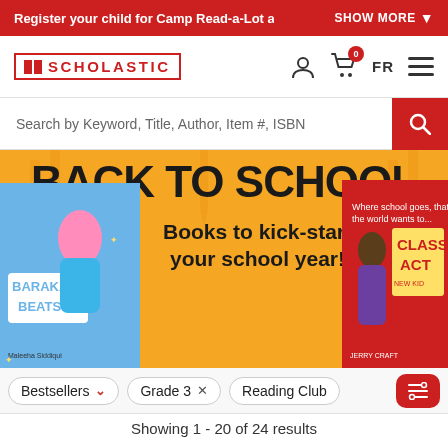Register your child for Camp Read-a-Lot and g   SHOW MORE
[Figure (logo): Scholastic logo with book icon and wordmark in red]
Search by Keyword, Title, Author, Item #, ISBN
[Figure (illustration): Back to School banner with orange background, pencil decorations, two book covers (Barakah Beats and Class Act), and text: BACK TO SCHOOL Books to kick-start your school year!]
Bestsellers
Grade 3
Reading Club
Showing 1 - 20 of 24 results